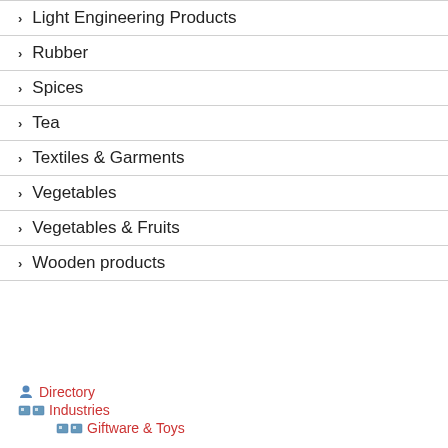Light Engineering Products
Rubber
Spices
Tea
Textiles & Garments
Vegetables
Vegetables & Fruits
Wooden products
Directory  Industries  Giftware & Toys